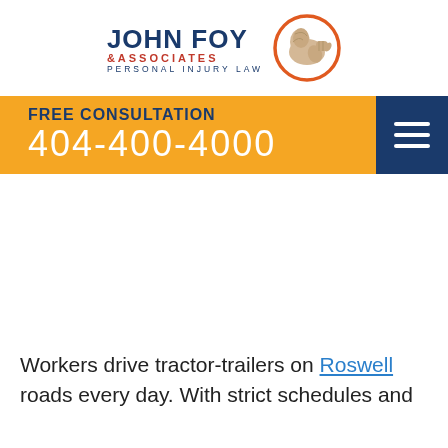[Figure (logo): John Foy & Associates Personal Injury Law logo with flexing arm in orange circle]
FREE CONSULTATION
404-400-4000
Workers drive tractor-trailers on Roswell roads every day. With strict schedules and